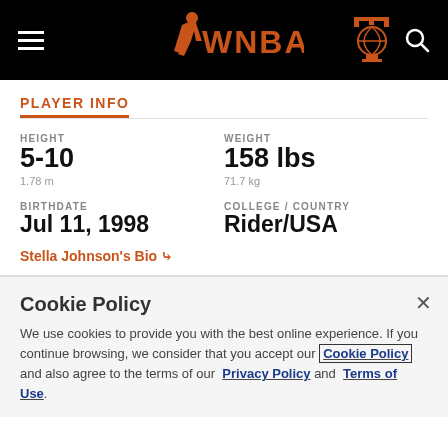WNBA navigation header with hamburger menu, WNBA logo, basketball trophy icon, and search icon
PLAYER INFO
HEIGHT
5-10
1.78 m
WEIGHT
158 lbs
71.7 kg
BIRTHDATE
Jul 11, 1998
COLLEGE / COUNTRY
Rider/USA
Stella Johnson's Bio
Cookie Policy
We use cookies to provide you with the best online experience. If you continue browsing, we consider that you accept our Cookie Policy and also agree to the terms of our Privacy Policy and Terms of Use.